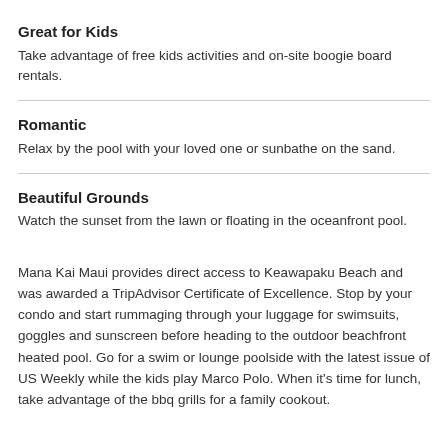Great for Kids
Take advantage of free kids activities and on-site boogie board rentals.
Romantic
Relax by the pool with your loved one or sunbathe on the sand.
Beautiful Grounds
Watch the sunset from the lawn or floating in the oceanfront pool.
Mana Kai Maui provides direct access to Keawapaku Beach and was awarded a TripAdvisor Certificate of Excellence. Stop by your condo and start rummaging through your luggage for swimsuits, goggles and sunscreen before heading to the outdoor beachfront heated pool. Go for a swim or lounge poolside with the latest issue of US Weekly while the kids play Marco Polo. When it's time for lunch, take advantage of the bbq grills for a family cookout.